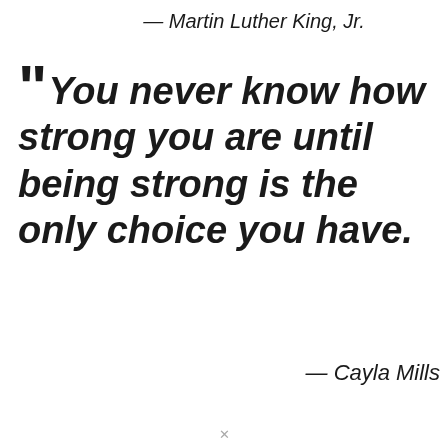— Martin Luther King, Jr.
“You never know how strong you are until being strong is the only choice you have.
— Cayla Mills